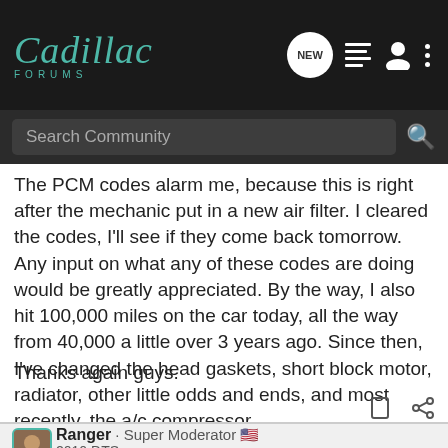Cadillac Forums
The PCM codes alarm me, because this is right after the mechanic put in a new air filter. I cleared the codes, I'll see if they come back tomorrow. Any input on what any of these codes are doing would be greatly appreciated. By the way, I also hit 100,000 miles on the car today, all the way from 40,000 a little over 3 years ago. Since then, I've changed the head gaskets, short block motor, radiator, other little odds and ends, and most recently, the a/c compressor.
Thanks again guys.
Ranger · Super Moderator 🇺🇸
2010 DTS